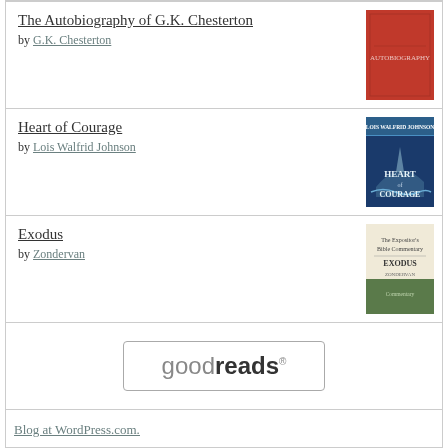The Autobiography of G.K. Chesterton by G.K. Chesterton
Heart of Courage by Lois Walfrid Johnson
Exodus by Zondervan
[Figure (logo): goodreads logo button with rounded rectangle border]
Blog at WordPress.com.